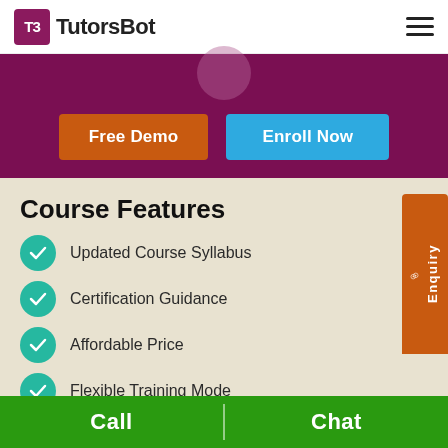[Figure (logo): TutorsBot logo with stylized T B icon in magenta square and hamburger menu icon]
[Figure (infographic): Purple banner with Free Demo orange button and Enroll Now blue button]
Course Features
Updated Course Syllabus
Certification Guidance
Affordable Price
Flexible Training Mode
Call   Chat